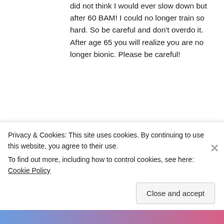did not think I would ever slow down but after 60 BAM! I could no longer train so hard. So be careful and don't overdo it. After age 65 you will realize you are no longer bionic. Please be careful!
★ Like
Reply
[Figure (illustration): Gray circular avatar placeholder with italic letter 'a']
Jas Sling says:
August 29, 2017 at 5:26 pm
Privacy & Cookies: This site uses cookies. By continuing to use this website, you agree to their use.
To find out more, including how to control cookies, see here: Cookie Policy
Close and accept